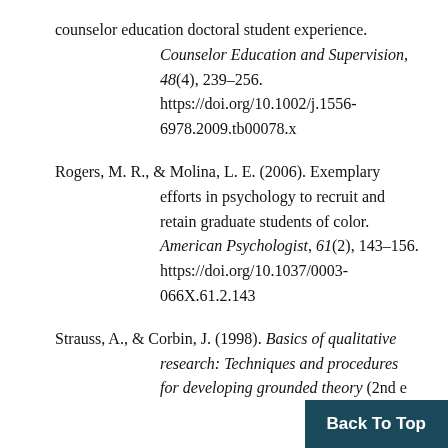counselor education doctoral student experience. Counselor Education and Supervision, 48(4), 239–256. https://doi.org/10.1002/j.1556-6978.2009.tb00078.x
Rogers, M. R., & Molina, L. E. (2006). Exemplary efforts in psychology to recruit and retain graduate students of color. American Psychologist, 61(2), 143–156. https://doi.org/10.1037/0003-066X.61.2.143
Strauss, A., & Corbin, J. (1998). Basics of qualitative research: Techniques and procedures for developing grounded theory (2nd e…
Back To Top